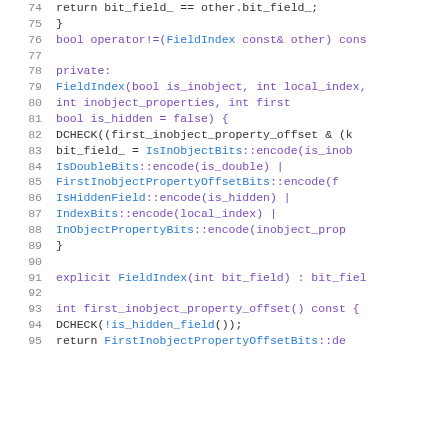[Figure (screenshot): Source code listing in C++ showing lines 74-95 of a FieldIndex class implementation with syntax highlighting. Line numbers in grey on left, keywords in purple, class/type names in blue, plain code in dark color.]